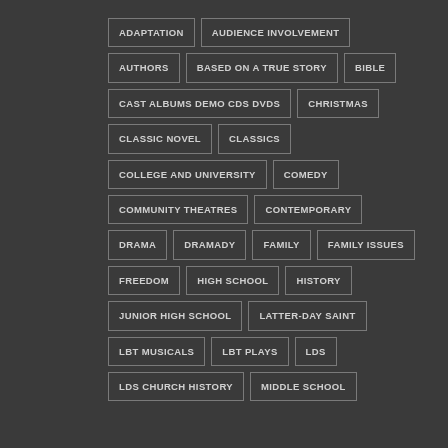ADAPTATION
AUDIENCE INVOLVEMENT
AUTHORS
BASED ON A TRUE STORY
BIBLE
CAST ALBUMS DEMO CDS DVDS
CHRISTMAS
CLASSIC NOVEL
CLASSICS
COLLEGE AND UNIVERSITY
COMEDY
COMMUNITY THEATRES
CONTEMPORARY
DRAMA
DRAMADY
FAMILY
FAMILY ISSUES
FREEDOM
HIGH SCHOOL
HISTORY
JUNIOR HIGH SCHOOL
LATTER-DAY SAINT
LBT MUSICALS
LBT PLAYS
LDS
LDS CHURCH HISTORY
MIDDLE SCHOOL